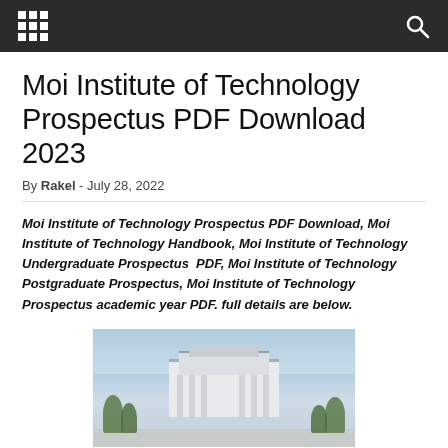[Navigation bar with grid menu icon and search icon]
Moi Institute of Technology Prospectus PDF Download 2023
By Rakel - July 28, 2022
Moi Institute of Technology Prospectus PDF Download, Moi Institute of Technology Handbook, Moi Institute of Technology Undergraduate Prospectus PDF, Moi Institute of Technology Postgraduate Prospectus, Moi Institute of Technology Prospectus academic year PDF. full details are below.
[Figure (photo): Exterior photo of a multi-story building with columns, likely the Moi Institute of Technology campus building, with trees and clear sky in background.]